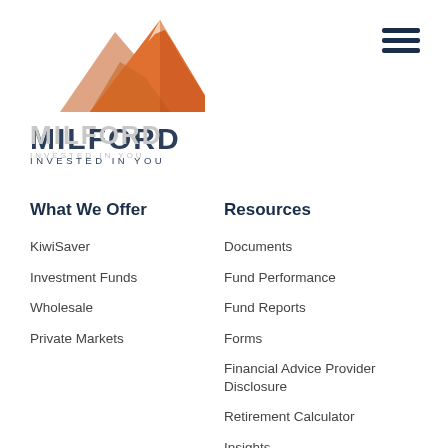[Figure (logo): Milford Asset Management logo — orange mountain peak illustration above bold dark navy 'MILFORD' text with 'INVESTED IN YOU' tagline]
[Figure (illustration): Hamburger menu icon — three dark navy horizontal bars in top-right corner]
What We Offer
KiwiSaver
Investment Funds
Wholesale
Private Markets
Resources
Documents
Fund Performance
Fund Reports
Forms
Financial Advice Provider Disclosure
Retirement Calculator
Insights